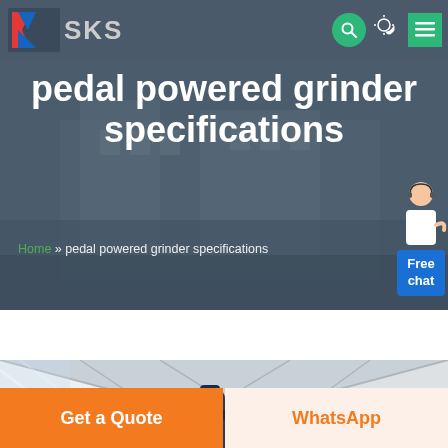SKS - pedal powered grinder specifications
pedal powered grinder specifications
Home » pedal powered grinder specifications
[Figure (screenshot): Industrial grinder equipment photographed inside a large tent/warehouse structure with steel framework visible overhead]
Get a Quote
WhatsApp